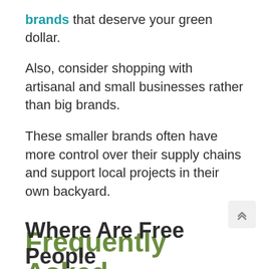brands that deserve your green dollar.
Also, consider shopping with artisanal and small businesses rather than big brands.
These smaller brands often have more control over their supply chains and support local projects in their own backyard.
Frequently Asked Questions
Where Are Free People